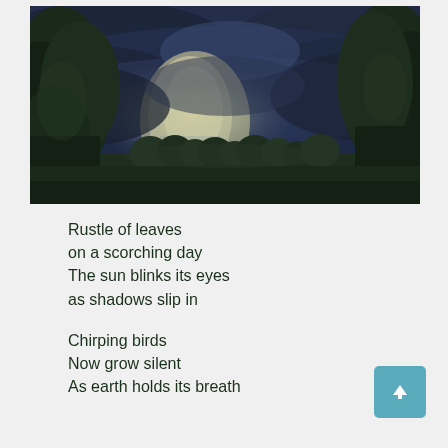[Figure (photo): A dramatic storm photo showing dark blue-grey storm clouds over a tree line with a bright shaft of light breaking through in the center, trees silhouetted in the foreground on the left and right sides.]
Rustle of leaves
on a scorching day
The sun blinks its eyes
as shadows slip in

Chirping birds
Now grow silent
As earth holds its breath